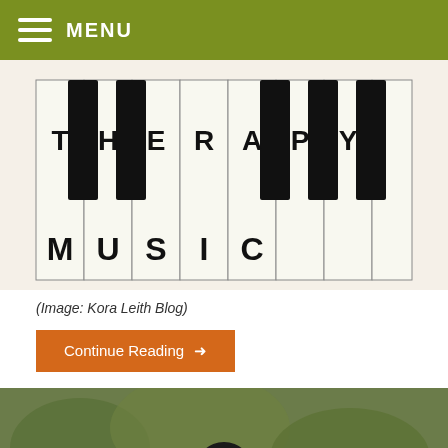MENU
[Figure (photo): Piano keys with letters spelling MUSIC THERAPY]
(Image: Kora Leith Blog)
Continue Reading →
[Figure (photo): A black crow/raven standing on ground with green foliage background]